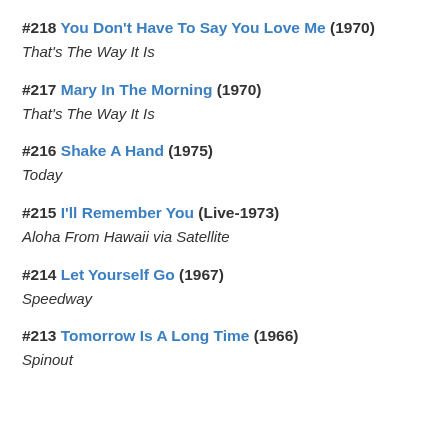#218 You Don't Have To Say You Love Me (1970)
That's The Way It Is
#217 Mary In The Morning (1970)
That's The Way It Is
#216 Shake A Hand (1975)
Today
#215 I'll Remember You (Live-1973)
Aloha From Hawaii via Satellite
#214 Let Yourself Go (1967)
Speedway
#213 Tomorrow Is A Long Time (1966)
Spinout